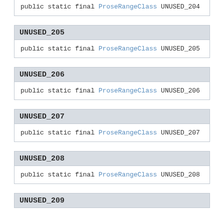public static final ProseRangeClass UNUSED_204
UNUSED_205
public static final ProseRangeClass UNUSED_205
UNUSED_206
public static final ProseRangeClass UNUSED_206
UNUSED_207
public static final ProseRangeClass UNUSED_207
UNUSED_208
public static final ProseRangeClass UNUSED_208
UNUSED_209